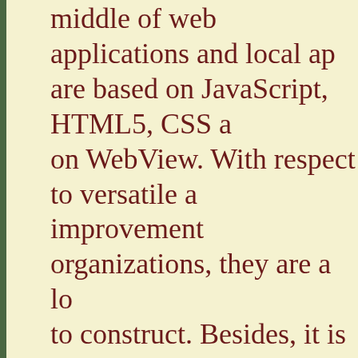middle of web applications and local ap are based on JavaScript, HTML5, CSS a on WebView. With respect to versatile a improvement organizations, they are a l to construct. Besides, it is a lot less expe advancement process and approaches a s that enables it to get to capacity, camera
On a further note, they are not as quick a applications and somewhat costlier than applications. Likewise, they are not read a customized involvement to the clients.
WRAPPING UP
The most ideal approach to settle on be